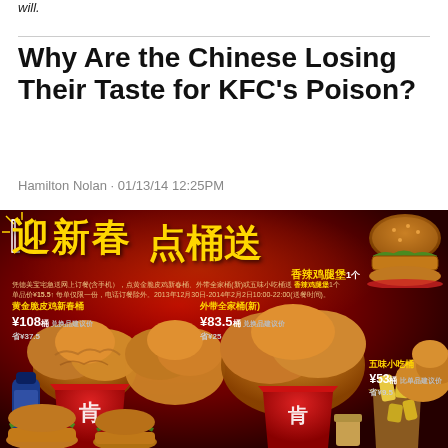will.
Why Are the Chinese Losing Their Taste for KFC's Poison?
Hamilton Nolan · 01/13/14 12:25PM
[Figure (photo): KFC China promotional advertisement image showing buckets of fried chicken, burgers, and Chinese New Year promotional text in red and gold. Shows pricing for 黄金脆皮鸡新春桶 ¥108 省¥37.5, 外带全家桶(新) ¥83.5 省¥25, 五味小吃桶 ¥53 省¥9.5]